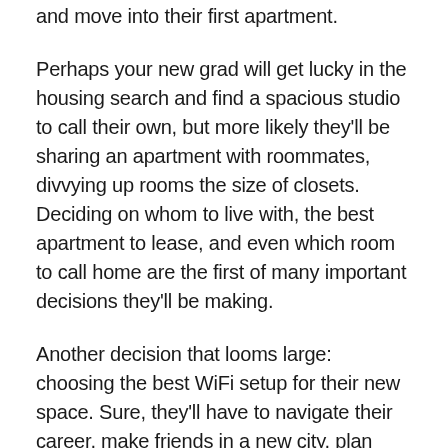and move into their first apartment.
Perhaps your new grad will get lucky in the housing search and find a spacious studio to call their own, but more likely they'll be sharing an apartment with roommates, divvying up rooms the size of closets. Deciding on whom to live with, the best apartment to lease, and even which room to call home are the first of many important decisions they'll be making.
Another decision that looms large: choosing the best WiFi setup for their new space. Sure, they'll have to navigate their career, make friends in a new city, plan their finances, etc. But most new grads haven't ever had to think about WiFi before. At home, you've probably been the IT admin for most of their life. Now your child has to think about signing up for internet service, getting WiFi equipment, and